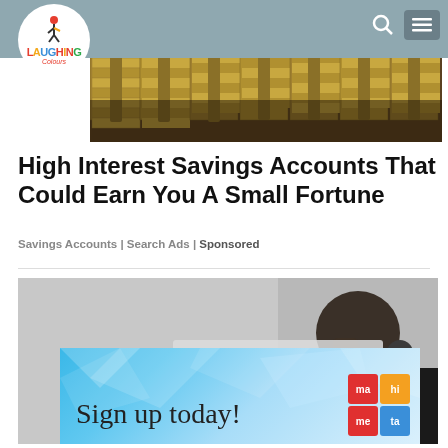Laughing Colours
[Figure (photo): Stacked bundles of US dollar bills piled high, viewed from the front/side angle]
High Interest Savings Accounts That Could Earn You A Small Fortune
Savings Accounts | Search Ads | Sponsored
[Figure (photo): Advertisement overlay: person holding head with hand in grayscale background, with 'ADVERTISEMENT' label and X close button, and a blue polygon-design banner ad reading 'Sign up today!' with Mameta logo grid]